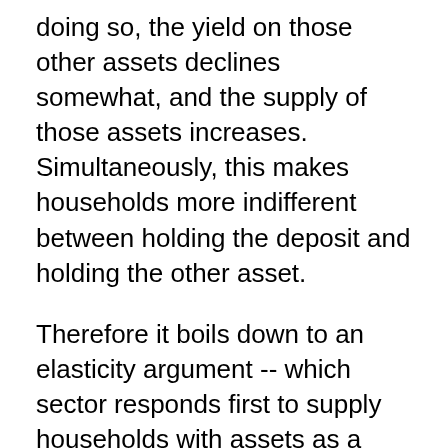doing so, the yield on those other assets declines somewhat, and the supply of those assets increases. Simultaneously, this makes households more indifferent between holding the deposit and holding the other asset.
Therefore it boils down to an elasticity argument -- which sector responds first to supply households with assets as a result of a (small) decrease in yields. Moreover, by how much does household demand for non-deposit assets decrease as a result of a small decrease in yields.